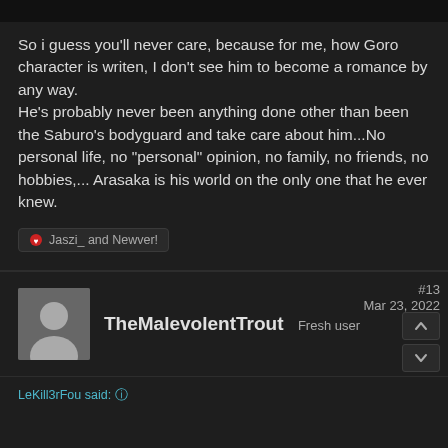So i guess you'll never care, because for me, how Goro character is writen, I don't see him to become a romance by any way.
He's probably never been anything done other than been the Saburo's bodyguard and take care about him...No personal life, no "personal" opinion, no family, no friends, no hobbies,... Arasaka is his world on the only one that he ever knew.
Jaszi_ and Newver!
TheMalevolentTrout  Fresh user  #13  Mar 23, 2022
LeKill3rFou said: